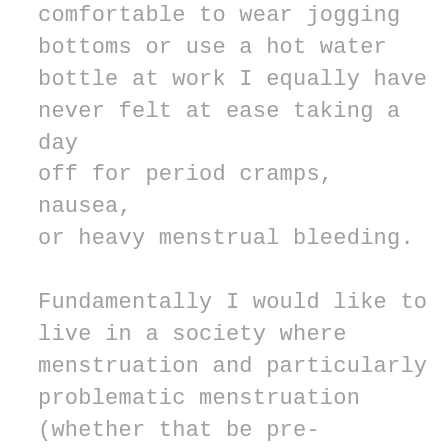comfortable to wear jogging bottoms or use a hot water bottle at work I equally have never felt at ease taking a day off for period cramps, nausea, or heavy menstrual bleeding.

Fundamentally I would like to live in a society where menstruation and particularly problematic menstruation (whether that be pre-menstrual syndrome, pre-menstrual dysmorphic disorder, endometriosis, adenomyosis,